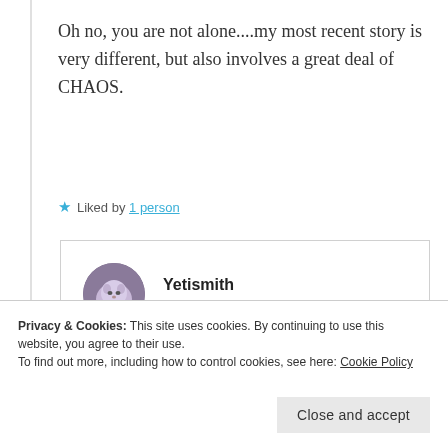Oh no, you are not alone....my most recent story is very different, but also involves a great deal of CHAOS.
★ Liked by 1 person
Yetismith
7th Sep 2021 at 8:52 pm
Privacy & Cookies: This site uses cookies. By continuing to use this website, you agree to their use.
To find out more, including how to control cookies, see here: Cookie Policy
Close and accept